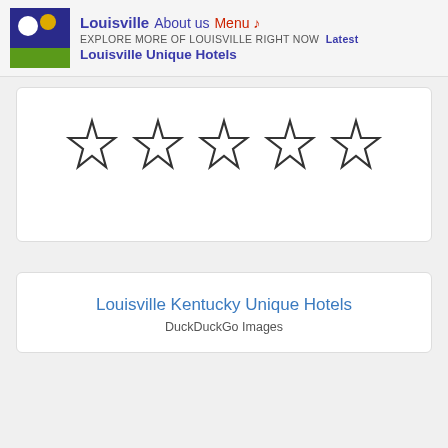Louisville  About us  Menu ♪  EXPLORE MORE OF LOUISVILLE RIGHT NOW  Latest  Louisville Unique Hotels
[Figure (other): Five empty star rating icons (outline only, no fill) displayed in a row inside a white rounded card]
Louisville Kentucky Unique Hotels
DuckDuckGo Images